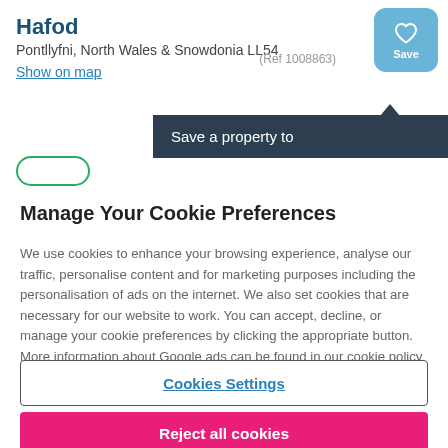Hafod
Pontllyfni, North Wales & Snowdonia LL54
Show on map
(Ref 1008863)
Save a property to
Manage Your Cookie Preferences
We use cookies to enhance your browsing experience, analyse our traffic, personalise content and for marketing purposes including the personalisation of ads on the internet. We also set cookies that are necessary for our website to work. You can accept, decline, or manage your cookie preferences by clicking the appropriate button. More information about Google ads can be found in our cookie policy
Cookies Settings
Reject all cookies